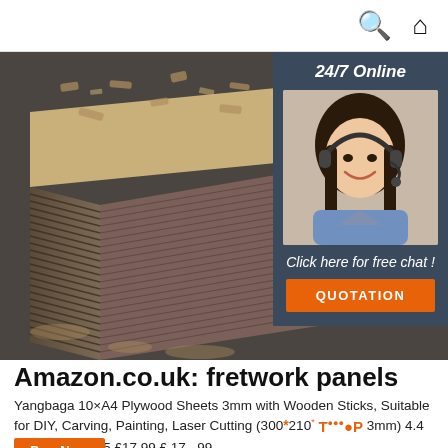search icon, home icon
[Figure (photo): Stack of plywood/OSB sheets viewed at an angle, showing layered edges on a warehouse floor]
[Figure (infographic): 24/7 Online chat overlay panel with woman wearing headset, 'Click here for free chat!' text and an orange QUOTATION button]
Amazon.co.uk: fretwork panels
Yangbaga 10×A4 Plywood Sheets 3mm with Wooden Sticks, Suitable for DIY, Carving, Painting, Laser Cutting (300*210*3mm) 4.4 out of 5 stars 55 £17.99 £ 17 . 99